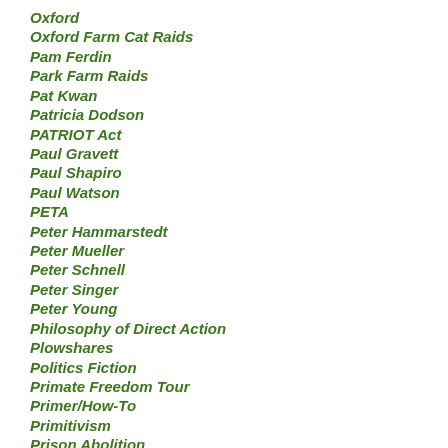Oxford
Oxford Farm Cat Raids
Pam Ferdin
Park Farm Raids
Pat Kwan
Patricia Dodson
PATRIOT Act
Paul Gravett
Paul Shapiro
Paul Watson
PETA
Peter Hammarstedt
Peter Mueller
Peter Schnell
Peter Singer
Peter Young
Philosophy of Direct Action
Plowshares
Politics Fiction
Primate Freedom Tour
Primer/How-To
Primitivism
Prison Abolition
Prison Support
Puka and Kea
Quintiles Campaign
Rabbix
Racism/White Privilege